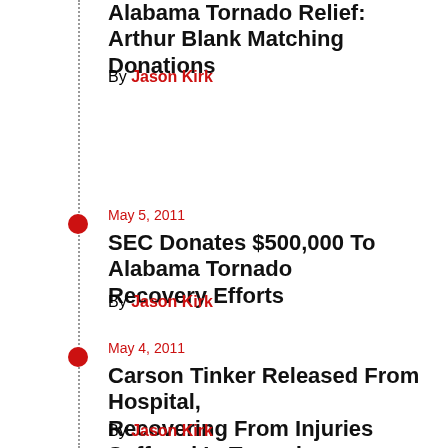Alabama Tornado Relief: Arthur Blank Matching Donations
By Jason Kirk
May 5, 2011
SEC Donates $500,000 To Alabama Tornado Recovery Efforts
By Jason Kirk
May 4, 2011
Carson Tinker Released From Hospital, Recovering From Injuries Suffered In Tornado
By Jason Kirk
May 2, 2011
Braves Donate $100,000 To Southeastern Tornado Relief, Welcome Donations At Turner